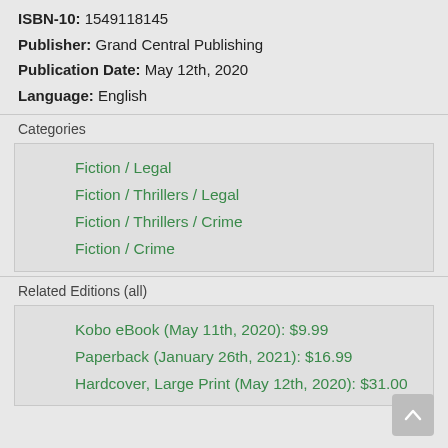ISBN-10: 1549118145
Publisher: Grand Central Publishing
Publication Date: May 12th, 2020
Language: English
Categories
Fiction / Legal
Fiction / Thrillers / Legal
Fiction / Thrillers / Crime
Fiction / Crime
Related Editions (all)
Kobo eBook (May 11th, 2020): $9.99
Paperback (January 26th, 2021): $16.99
Hardcover, Large Print (May 12th, 2020): $31.00